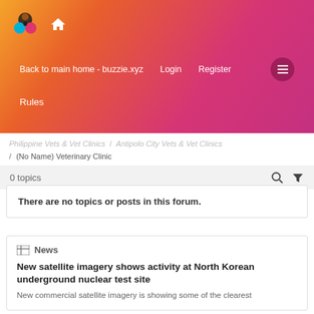[Figure (logo): Buzzie.xyz logo with colorful circles and home icon]
Back to main home - buzzie.xyz   Login   Register
Rules
Philippine Vets & Vet Clinics / Antipolo City Vets & Vet Clinics / (No Name) Veterinary Clinic
0 topics
There are no topics or posts in this forum.
News
New satellite imagery shows activity at North Korean underground nuclear test site
New commercial satellite imagery is showing some of the clearest